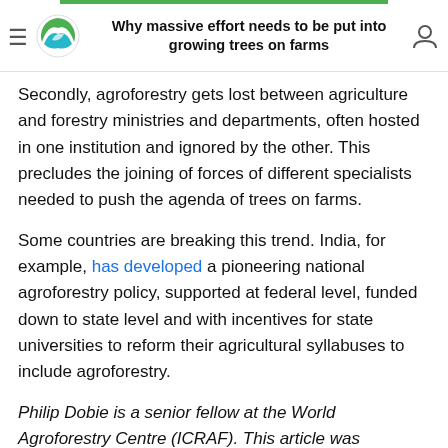Why massive effort needs to be put into growing trees on farms
Secondly, agroforestry gets lost between agriculture and forestry ministries and departments, often hosted in one institution and ignored by the other. This precludes the joining of forces of different specialists needed to push the agenda of trees on farms.
Some countries are breaking this trend. India, for example, has developed a pioneering national agroforestry policy, supported at federal level, funded down to state level and with incentives for state universities to reform their agricultural syllabuses to include agroforestry.
Philip Dobie is a senior fellow at the World Agroforestry Centre (ICRAF). This article was originally published on The Conversation.